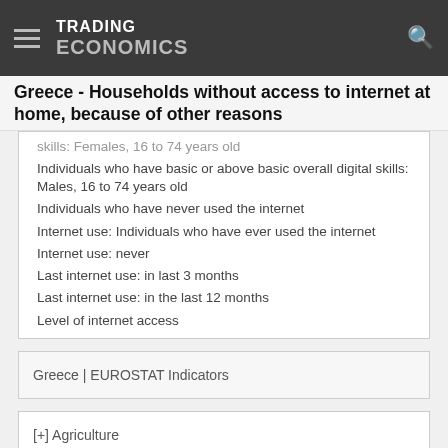TRADING ECONOMICS
Greece - Households without access to internet at home, because of other reasons
skills: Females, 16 to 74 years old
Individuals who have basic or above basic overall digital skills: Males, 16 to 74 years old
Individuals who have never used the internet
Internet use: Individuals who have ever used the internet
Internet use: never
Last internet use: in last 3 months
Last internet use: in the last 12 months
Level of internet access
Greece | EUROSTAT Indicators
[+] Agriculture
[+] Asylum and managed migration